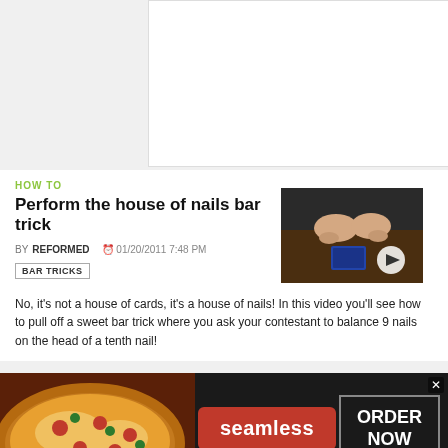[Figure (other): White rectangular content area against gray background at top of page]
HOW TO
Perform the house of nails bar trick
BY REFORMED  01/20/2011 7:48 PM
BAR TRICKS
[Figure (screenshot): Video thumbnail showing hands performing a card/nail trick on a table, with a white play button overlay in the bottom right]
No, it's not a house of cards, it's a house of nails! In this video you'll see how to pull off a sweet bar trick where you ask your contestant to balance 9 nails on the head of a tenth nail!
[Figure (other): Seamless food delivery advertisement banner with pizza image on left, red Seamless badge in center, and ORDER NOW button on right]